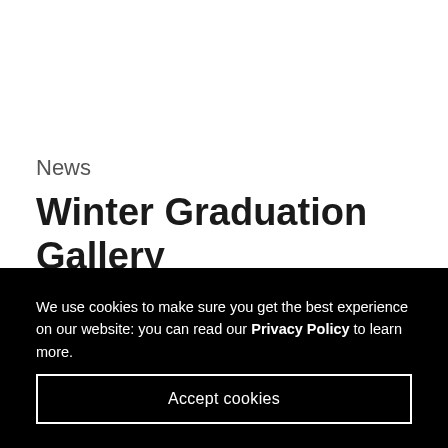News
Winter Graduation Gallery
19 January 2017
We use cookies to make sure you get the best experience on our website: you can read our Privacy Policy to learn more.
Accept cookies